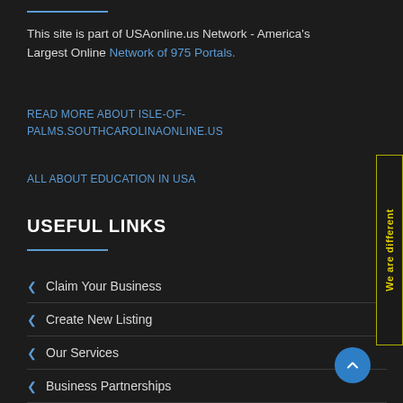This site is part of USAonline.us Network - America's Largest Online Network of 975 Portals.
READ MORE ABOUT ISLE-OF-PALMS.SOUTHCAROLINAONLINE.US
ALL ABOUT EDUCATION IN USA
USEFUL LINKS
Claim Your Business
Create New Listing
Our Services
Business Partnerships
About Us
[Figure (other): Vertical side banner with yellow text reading 'We are different' on dark background with yellow border]